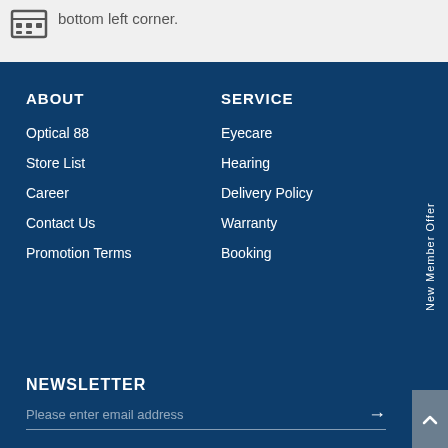bottom left corner.
ABOUT
SERVICE
Optical 88
Eyecare
Store List
Hearing
Career
Delivery Policy
Contact Us
Warranty
Promotion Terms
Booking
NEWSLETTER
Please enter email address
New Member Offer